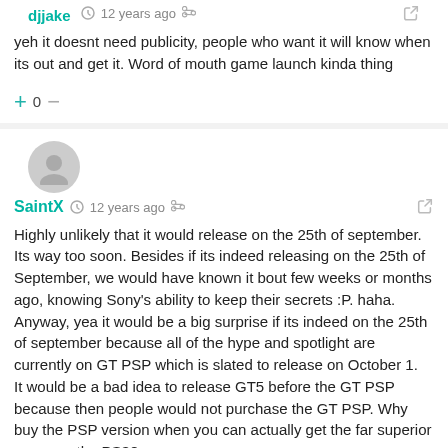djjake · 12 years ago
yeh it doesnt need publicity, people who want it will know when its out and get it. Word of mouth game launch kinda thing
+ 0 −
[Figure (illustration): Gray default user avatar circle icon]
SaintX · 12 years ago
Highly unlikely that it would release on the 25th of september. Its way too soon. Besides if its indeed releasing on the 25th of September, we would have known it bout few weeks or months ago, knowing Sony's ability to keep their secrets :P. haha. Anyway, yea it would be a big surprise if its indeed on the 25th of september because all of the hype and spotlight are currently on GT PSP which is slated to release on October 1.
It would be a bad idea to release GT5 before the GT PSP because then people would not purchase the GT PSP. Why buy the PSP version when you can actually get the far superior game on the PS3?
+ 0 −